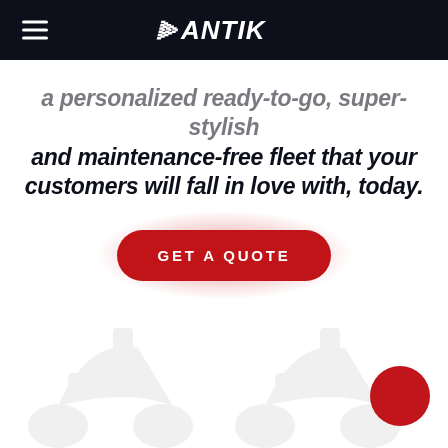ANTIK (navigation bar with logo)
a personalized ready-to-go, super-stylish and maintenance-free fleet that your customers will fall in love with, today.
[Figure (infographic): Red rounded button with glowing red background halo reading GET A QUOTE]
[Figure (illustration): Faint silhouette illustrations of scooters/vehicles at bottom of page with a solid red circle in bottom right corner]